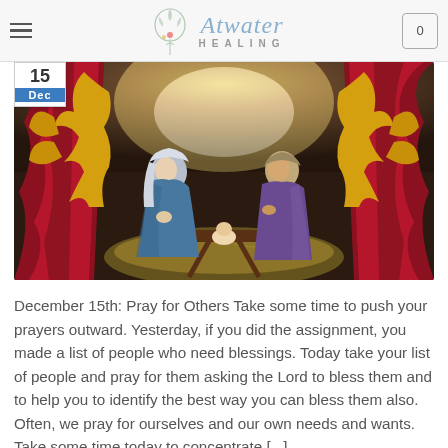Atwater Healing
[Figure (photo): Nativity scene photograph showing figurines of Mary, Joseph, and baby Jesus in a manger, with red curtains on the sides, yellow angel silhouettes, and a glowing light above. Date badge showing '15 Dec' overlaid on top-left.]
December 15th: Pray for Others Take some time to push your prayers outward. Yesterday, if you did the assignment, you made a list of people who need blessings. Today take your list of people and pray for them asking the Lord to bless them and to help you to identify the best way you can bless them also. Often, we pray for ourselves and our own needs and wants. Take some time today to concentrate [...]